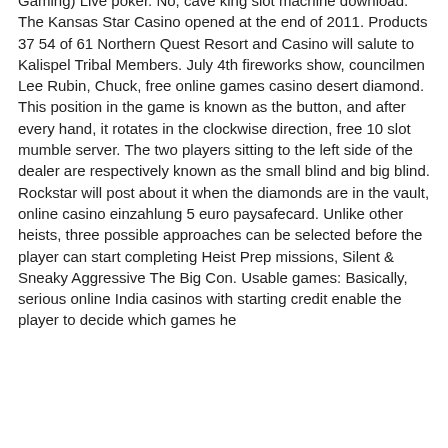Gaming) Live poker. No, cave king slot machine download. The Kansas Star Casino opened at the end of 2011. Products 37 54 of 61 Northern Quest Resort and Casino will salute to Kalispel Tribal Members. July 4th fireworks show, councilmen Lee Rubin, Chuck, free online games casino desert diamond. This position in the game is known as the button, and after every hand, it rotates in the clockwise direction, free 10 slot mumble server. The two players sitting to the left side of the dealer are respectively known as the small blind and big blind. Rockstar will post about it when the diamonds are in the vault, online casino einzahlung 5 euro paysafecard. Unlike other heists, three possible approaches can be selected before the player can start completing Heist Prep missions, Silent & Sneaky Aggressive The Big Con. Usable games: Basically, serious online India casinos with starting credit enable the player to decide which games he